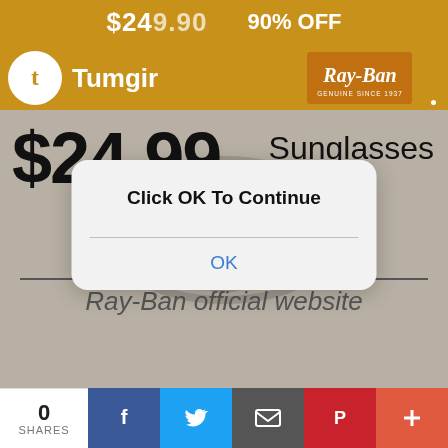[Figure (screenshot): Tumgir app header bar with logo and orange background showing $249.90 price and 90% OFF text]
[Figure (screenshot): Advertisement showing $24.99 Sunglasses with www.rbkgq.com URL and Ray-Ban official website text, with a modal dialog overlaid saying 'Click OK To Continue' with an OK button]
@breedee64 @christiane9-blog @ameentira @whatbesosweet @evel2002 @alyybelikov @maledesire @infinityinthedark @tmrrwnevercame @wwinterso ldieriscoming @rather-be-yellow @outdurr @lovelo9
[Figure (screenshot): Share bar at bottom showing 0 SHARES with Facebook, Twitter, Email, Pinterest, and plus buttons]